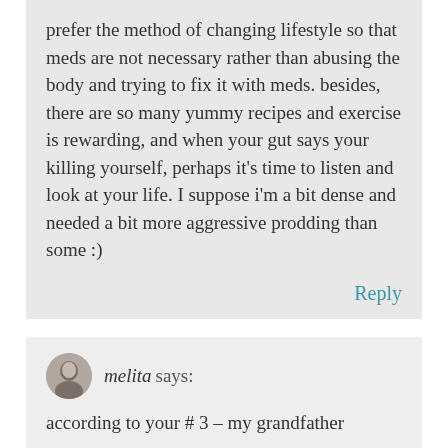prefer the method of changing lifestyle so that meds are not necessary rather than abusing the body and trying to fix it with meds. besides, there are so many yummy recipes and exercise is rewarding, and when your gut says your killing yourself, perhaps it's time to listen and look at your life. I suppose i'm a bit dense and needed a bit more aggressive prodding than some :)
Reply
melita says:
according to your # 3 – my grandfather